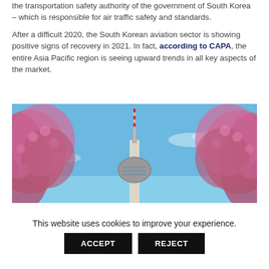the transportation safety authority of the government of South Korea – which is responsible for air traffic safety and standards.

After a difficult 2020, the South Korean aviation sector is showing positive signs of recovery in 2021. In fact, according to CAPA, the entire Asia Pacific region is seeing upward trends in all key aspects of the market.
[Figure (photo): Photo of N Seoul Tower (Namsan Tower) seen from below, surrounded by pink/magenta cherry blossom trees against a blue sky.]
This website uses cookies to improve your experience.
ACCEPT   REJECT